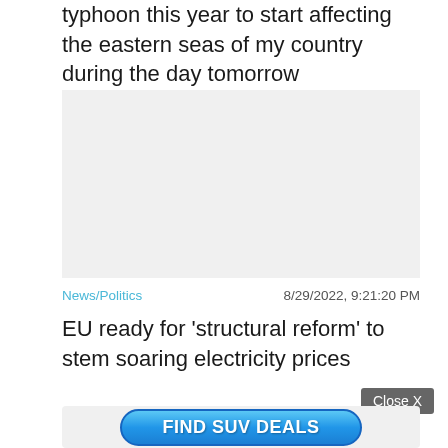typhoon this year to start affecting the eastern seas of my country during the day tomorrow
[Figure (other): Gray placeholder advertisement box]
News/Politics   8/29/2022, 9:21:20 PM
EU ready for 'structural reform' to stem soaring electricity prices
Close X
[Figure (other): Blue rounded advertisement button with text FIND SUV DEALS]